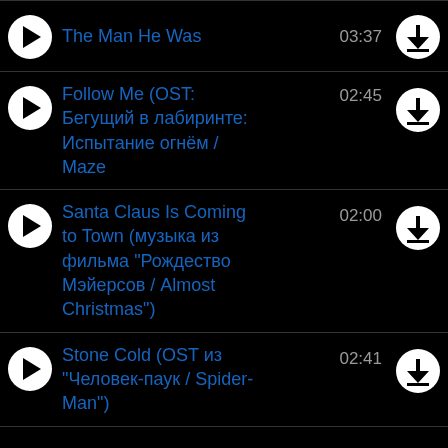The Man He Was — 03:37
Follow Me (OST: Бегущий в лабиринте: Испытание огнём / Maze — 02:45
Santa Claus Is Coming to Town (музыка из фильма "Рождество Мэйерсов / Almost Christmas") — 02:00
Stone Cold (OST из "Человек-паук / Spider-Man") — 02:41